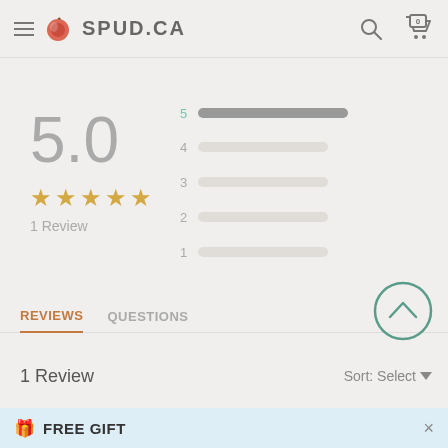[Figure (screenshot): SPUD.CA website header with hamburger menu, logo with apple icon, search icon, and shopping cart with 0 items]
[Figure (bar-chart): Star rating distribution]
5.0
★★★★★
1 Review
REVIEWS
QUESTIONS
1 Review
Sort: Select
FREE GIFT